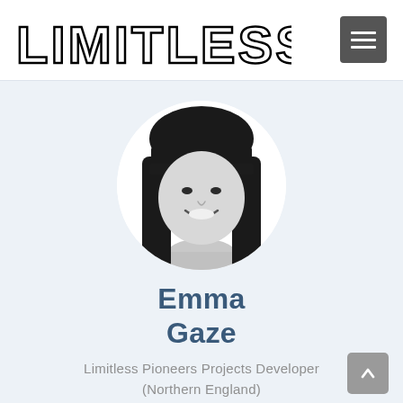LIMITLESS
[Figure (photo): Black and white circular profile photo of Emma Gaze, a woman with straight dark hair with bangs, smiling at the camera.]
Emma Gaze
Limitless Pioneers Projects Developer (Northern England)